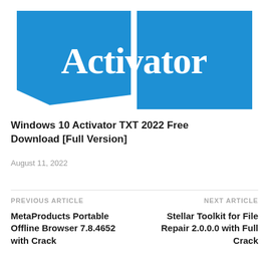[Figure (logo): Windows-style logo with two blue rectangles and white text 'Activator' in serif font]
Windows 10 Activator TXT 2022 Free Download [Full Version]
August 11, 2022
PREVIOUS ARTICLE
MetaProducts Portable Offline Browser 7.8.4652 with Crack
NEXT ARTICLE
Stellar Toolkit for File Repair 2.0.0.0 with Full Crack